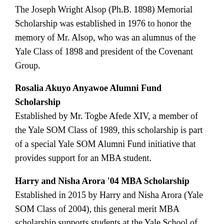The Joseph Wright Alsop (Ph.B. 1898) Memorial Scholarship was established in 1976 to honor the memory of Mr. Alsop, who was an alumnus of the Yale Class of 1898 and president of the Covenant Group.
Rosalia Akuyo Anyawoe Alumni Fund Scholarship
Established by Mr. Togbe Afede XIV, a member of the Yale SOM Class of 1989, this scholarship is part of a special Yale SOM Alumni Fund initiative that provides support for an MBA student.
Harry and Nisha Arora '04 MBA Scholarship
Established in 2015 by Harry and Nisha Arora (Yale SOM Class of 2004), this general merit MBA scholarship supports students at the Yale School of Management.